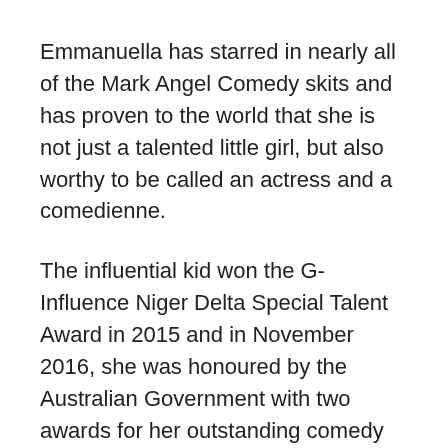Emmanuella has starred in nearly all of the Mark Angel Comedy skits and has proven to the world that she is not just a talented little girl, but also worthy to be called an actress and a comedienne.
The influential kid won the G-Influence Niger Delta Special Talent Award in 2015 and in November 2016, she was honoured by the Australian Government with two awards for her outstanding comedy shows – Best New Comedienne & Princess of Comedy. The event took place in Sydney, Australia and with it, she became the youngest recipient of the Afro-Australia Music & Movie Awards (AAMMA).